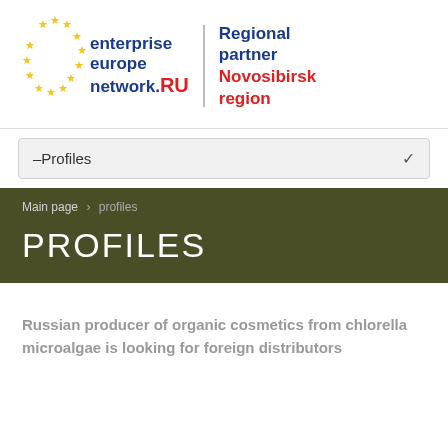[Figure (logo): Enterprise Europe Network .RU logo with EU stars on left, text 'enterprise europe network.RU' in blue and red, vertical divider, 'Regional partner Novosibirsk region' in blue and red on right]
–Profiles
Main page > profiles
PROFILES
Russian producer of organic cosmetics from chlorella microalgae is looking for foreign distributors